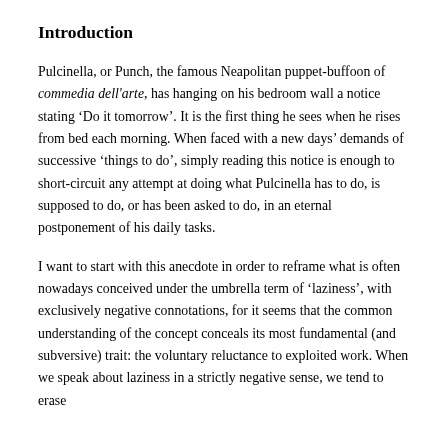Introduction
Pulcinella, or Punch, the famous Neapolitan puppet-buffoon of commedia dell'arte, has hanging on his bedroom wall a notice stating ‘Do it tomorrow’. It is the first thing he sees when he rises from bed each morning. When faced with a new days’ demands of successive ‘things to do’, simply reading this notice is enough to short-circuit any attempt at doing what Pulcinella has to do, is supposed to do, or has been asked to do, in an eternal postponement of his daily tasks.
I want to start with this anecdote in order to reframe what is often nowadays conceived under the umbrella term of ‘laziness’, with exclusively negative connotations, for it seems that the common understanding of the concept conceals its most fundamental (and subversive) trait: the voluntary reluctance to exploited work. When we speak about laziness in a strictly negative sense, we tend to erase